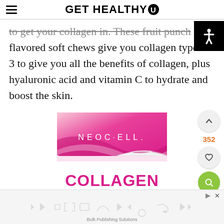GET HEALTHY U
to get your collagen in. These fruit punch flavored soft chews give you collagen types 3 to give you all the benefits of collagen, plus hyaluronic acid and vitamin C to hydrate and boost the skin.
[Figure (photo): NeoCell Collagen Beauty Soft Chews product bag. Pink and white packaging. Text reads: NEOCELL. COLLAGEN BEAUTY SOFT CHEWS. COLLAGEN TYPE 1 & 3 | HYALURONIC ACID | VITAMIN C]
[Figure (infographic): Advertisement banner at the bottom with various app/media icons in light gray, and an ad label.]